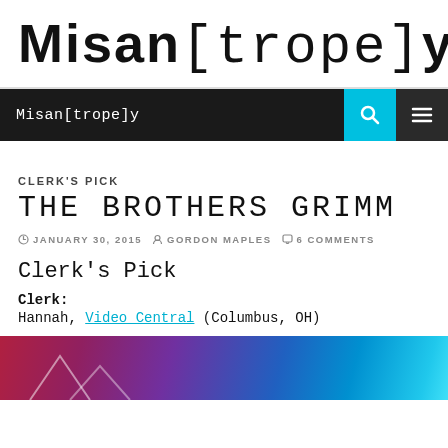Misan[trope]y
Misan[trope]y
CLERK'S PICK
THE BROTHERS GRIMM
JANUARY 30, 2015 · GORDON MAPLES · 6 COMMENTS
Clerk's Pick
Clerk: Hannah, Video Central (Columbus, OH)
[Figure (photo): Colorful photo partially visible at bottom of page, showing reds, purples, and blues]